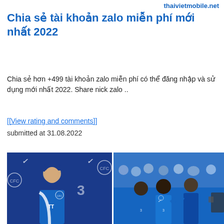thaivietmobile.net
Chia sẻ tài khoản zalo miễn phí mới nhất 2022
Chia sẻ hơn +499 tài khoản zalo miễn phí có thể đăng nhập và sử dụng mới nhất 2022. Share nick zalo ..
[[View rating and comments]]
submitted at 31.08.2022
[Figure (photo): Two Chelsea FC photos side by side: left shows a man (coach) in Chelsea blue training gear at a press conference with Chelsea logos in background; right shows Chelsea players in blue jerseys celebrating with fans in background.]